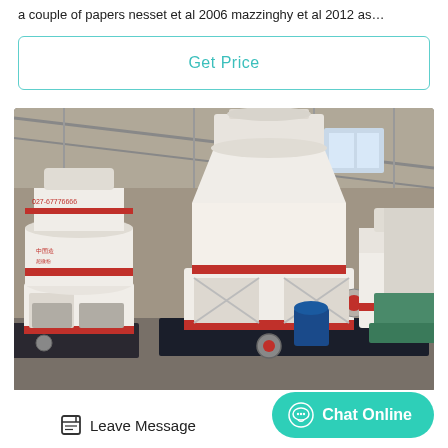a couple of papers nesset et al 2006 mazzinghy et al 2012 as…
[Figure (other): Button with teal border and text 'Get Price' in teal color]
[Figure (photo): Industrial grinding mill machines (Raymond mills) in a factory/warehouse setting. Large white cylindrical machines with red accent bands and Chinese text markings. Multiple units visible in a large industrial space with metal roof structure.]
Leave Message
Chat Online